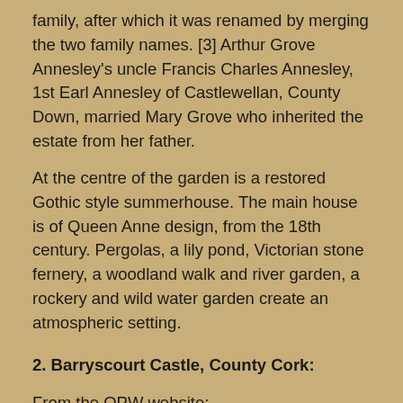family, after which it was renamed by merging the two family names. [3] Arthur Grove Annesley's uncle Francis Charles Annesley, 1st Earl Annesley of Castlewellan, County Down, married Mary Grove who inherited the estate from her father.
At the centre of the garden is a restored Gothic style summerhouse. The main house is of Queen Anne design, from the 18th century. Pergolas, a lily pond, Victorian stone fernery, a woodland walk and river garden, a rockery and wild water garden create an atmospheric setting.
2. Barryscourt Castle, County Cork:
From the OPW website:
“Barryscourt Castle was the seat of the great Anglo-Norman Barry family and is one of the finest examples of